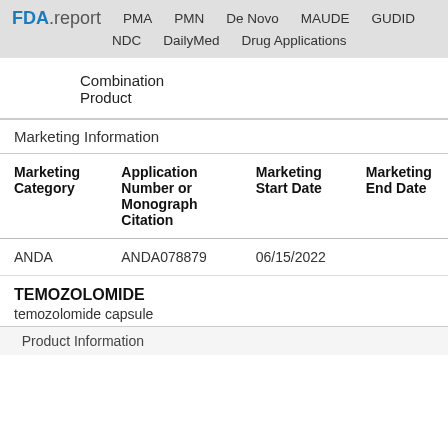FDA.report  PMA  PMN  De Novo  MAUDE  GUDID  NDC  DailyMed  Drug Applications
Combination Product
Marketing Information
| Marketing Category | Application Number or Monograph Citation | Marketing Start Date | Marketing End Date |
| --- | --- | --- | --- |
| ANDA | ANDA078879 | 06/15/2022 |  |
TEMOZOLOMIDE
temozolomide capsule
Product Information